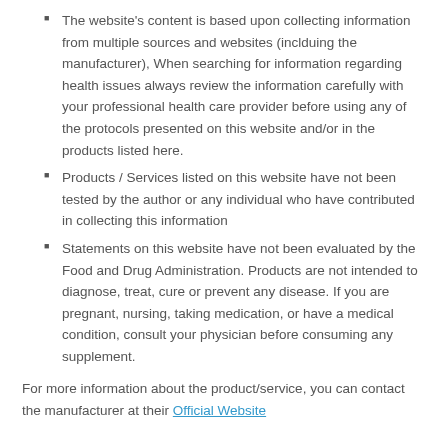The website's content is based upon collecting information from multiple sources and websites (inclduing the manufacturer), When searching for information regarding health issues always review the information carefully with your professional health care provider before using any of the protocols presented on this website and/or in the products listed here.
Products / Services listed on this website have not been tested by the author or any individual who have contributed in collecting this information
Statements on this website have not been evaluated by the Food and Drug Administration. Products are not intended to diagnose, treat, cure or prevent any disease. If you are pregnant, nursing, taking medication, or have a medical condition, consult your physician before consuming any supplement.
For more information about the product/service, you can contact the manufacturer at their Official Website